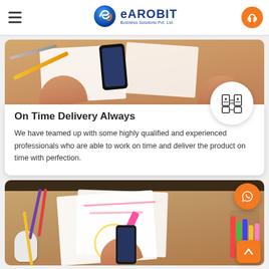[Figure (logo): eAROBiT Business Solutions Pvt. Ltd. logo with globe icon]
[Figure (photo): Top-down view of a desk with phone, papers, pencils and hands working on UI wireframes]
On Time Delivery Always
We have teamed up with some highly qualified and experienced professionals who are able to work on time and deliver the product on time with perfection.
[Figure (photo): Top-down view of a desk with a person drawing wireframes with a pink marker, phone, mouse, and colorful pens]